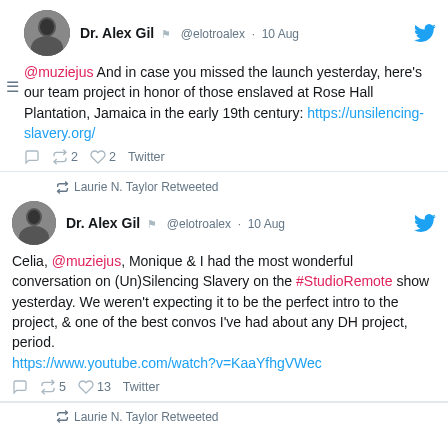[Figure (screenshot): First tweet by Dr. Alex Gil (@elotroalex) dated 10 Aug with avatar, Twitter bird logo, tweet text mentioning @muziejus and link https://unsilencing-slavery.org/, and action bar showing 2 retweets, 2 likes.]
[Figure (screenshot): Retweet notice: Laurie N. Taylor Retweeted]
[Figure (screenshot): Second tweet by Dr. Alex Gil (@elotroalex) dated 10 Aug with avatar, Twitter bird logo, tweet text mentioning @muziejus, #StudioRemote, and YouTube link, action bar showing 5 retweets, 13 likes.]